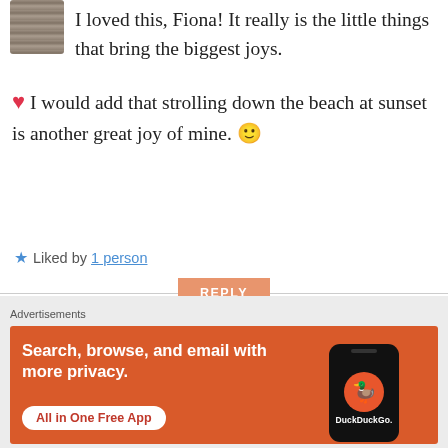[Figure (photo): Partial view of a wooden post avatar image at top left]
I loved this, Fiona! It really is the little things that bring the biggest joys. ❤ I would add that strolling down the beach at sunset is another great joy of mine. 🙂
★ Liked by 1 person
REPLY
[Figure (photo): Partial circular avatar of next commenter, cropped at bottom]
Advertisements
[Figure (screenshot): DuckDuckGo advertisement banner: Search, browse, and email with more privacy. All in One Free App. Shows a phone with DuckDuckGo logo.]